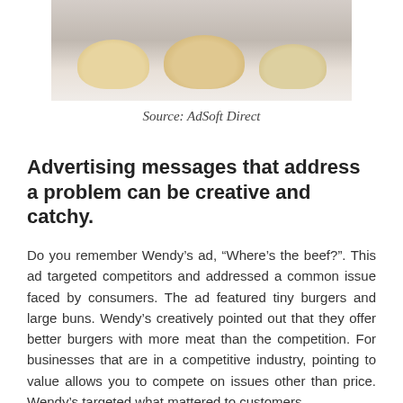[Figure (photo): Photo of burgers/buns on a white surface, partially cropped at top]
Source: AdSoft Direct
Advertising messages that address a problem can be creative and catchy.
Do you remember Wendy’s ad, “Where’s the beef?”. This ad targeted competitors and addressed a common issue faced by consumers. The ad featured tiny burgers and large buns. Wendy’s creatively pointed out that they offer better burgers with more meat than the competition. For businesses that are in a competitive industry, pointing to value allows you to compete on issues other than price. Wendy’s targeted what mattered to customers